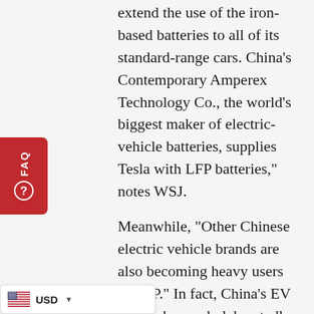extend the use of the iron-based batteries to all of its standard-range cars. China's Contemporary Amperex Technology Co., the world's biggest maker of electric-vehicle batteries, supplies Tesla with LFP batteries," notes WSJ.
Meanwhile, "Other Chinese electric vehicle brands are also becoming heavy users of LFP." In fact, China's EV brands have wholeheartedly embraced LFP, "not only because of the cost but also because the batteries are less likely to catch fire," translating to a better safety record, according to WSJ. In turn, adoption of LFP in China has been swift.